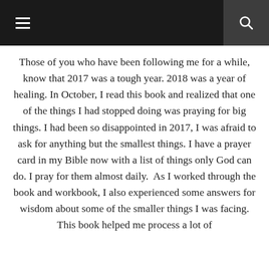[navigation header with menu and search icons]
Those of you who have been following me for a while, know that 2017 was a tough year. 2018 was a year of healing. In October, I read this book and realized that one of the things I had stopped doing was praying for big things. I had been so disappointed in 2017, I was afraid to ask for anything but the smallest things. I have a prayer card in my Bible now with a list of things only God can do. I pray for them almost daily.  As I worked through the book and workbook, I also experienced some answers for wisdom about some of the smaller things I was facing. This book helped me process a lot of